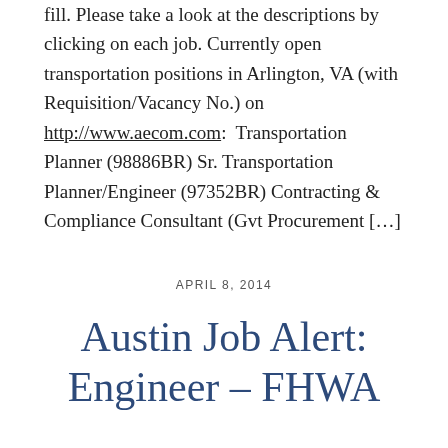fill. Please take a look at the descriptions by clicking on each job. Currently open transportation positions in Arlington, VA (with Requisition/Vacancy No.) on http://www.aecom.com:  Transportation Planner (98886BR) Sr. Transportation Planner/Engineer (97352BR) Contracting & Compliance Consultant (Gvt Procurement […]
APRIL 8, 2014
Austin Job Alert: Engineer – FHWA